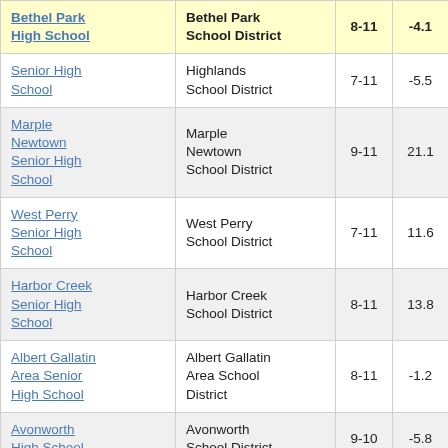| School | District | Grades | Value |  |
| --- | --- | --- | --- | --- |
| Bethel Park High School | Bethel Park School District | 8-11 | -4.1 |  |
| Senior High School | Highlands School District | 7-11 | -5.5 |  |
| Marple Newtown Senior High School | Marple Newtown School District | 9-11 | 21.1 |  |
| West Perry Senior High School | West Perry School District | 7-11 | 11.6 |  |
| Harbor Creek Senior High School | Harbor Creek School District | 8-11 | 13.8 |  |
| Albert Gallatin Area Senior High School | Albert Gallatin Area School District | 8-11 | -1.2 |  |
| Avonworth High School | Avonworth School District | 9-10 | -5.8 |  |